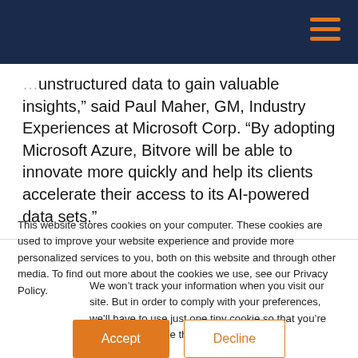...unstructured data to gain valuable insights,” said Paul Maher, GM, Industry Experiences at Microsoft Corp. “By adopting Microsoft Azure, Bitvore will be able to innovate more quickly and help its clients accelerate their access to its AI-powered data sets.”
This website stores cookies on your computer. These cookies are used to improve your website experience and provide more personalized services to you, both on this website and through other media. To find out more about the cookies we use, see our Privacy Policy.
We won’t track your information when you visit our site. But in order to comply with your preferences, we’ll have to use just one tiny cookie so that you’re not asked to make this choice again.
Accept | Decline